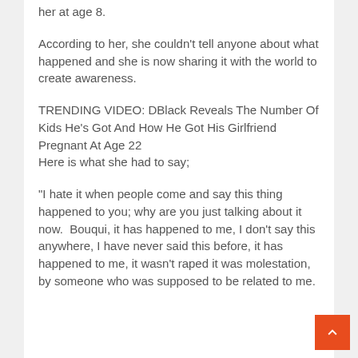her at age 8.
According to her, she couldn't tell anyone about what happened and she is now sharing it with the world to create awareness.
TRENDING VIDEO: DBlack Reveals The Number Of Kids He's Got And How He Got His Girlfriend Pregnant At Age 22
Here is what she had to say;
“I hate it when people come and say this thing happened to you; why are you just talking about it now.  Bouqui, it has happened to me, I don’t say this anywhere, I have never said this before, it has happened to me, it wasn’t raped it was molestation, by someone who was supposed to be related to me.